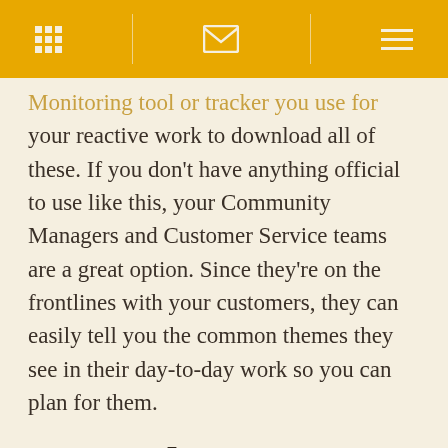[navigation bar with grid icon, envelope icon, and hamburger menu]
Monitoring tool or tracker you use for your reactive work to download all of these. If you don't have anything official to use like this, your Community Managers and Customer Service teams are a great option. Since they're on the frontlines with your customers, they can easily tell you the common themes they see in their day-to-day work so you can plan for them.
2. Involve Your Community Management